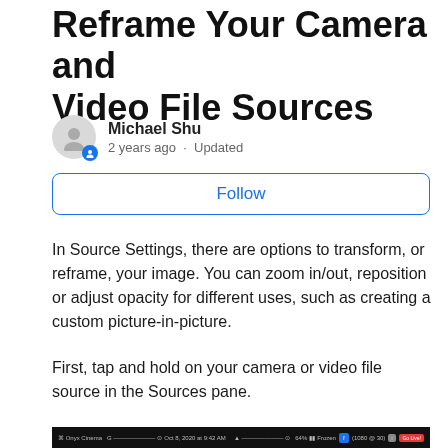Reframe Your Camera and Video File Sources
Michael Shu
2 years ago · Updated
Follow
In Source Settings, there are options to transform, or reframe, your image. You can zoom in/out, reposition or adjust opacity for different uses, such as creating a custom picture-in-picture.
First, tap and hold on your camera or video file source in the Sources pane.
[Figure (screenshot): Screenshot of a mobile app interface showing a dark toolbar with status bar information including Onyx Cinema, signal bars, time Oct 8 2020 at 9:42 AM, and a red Go Live button on the right.]